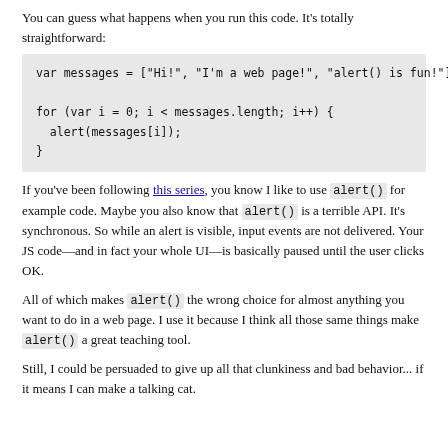You can guess what happens when you run this code. It's totally straightforward:
If you've been following this series, you know I like to use alert() for example code. Maybe you also know that alert() is a terrible API. It's synchronous. So while an alert is visible, input events are not delivered. Your JS code—and in fact your whole UI—is basically paused until the user clicks OK.
All of which makes alert() the wrong choice for almost anything you want to do in a web page. I use it because I think all those same things make alert() a great teaching tool.
Still, I could be persuaded to give up all that clunkiness and bad behavior... if it means I can make a talking cat.